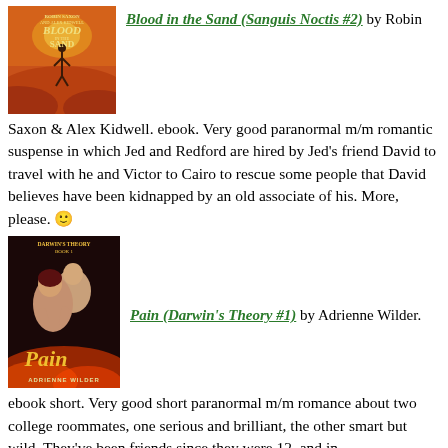[Figure (illustration): Book cover for Blood in the Sand (Sanguis Noctis #2) showing a desert scene with orange/red sky]
Blood in the Sand (Sanguis Noctis #2) by Robin Saxon & Alex Kidwell. ebook. Very good paranormal m/m romantic suspense in which Jed and Redford are hired by Jed's friend David to travel with he and Victor to Cairo to rescue some people that David believes have been kidnapped by an old associate of his. More, please. 🙂
[Figure (illustration): Book cover for Pain (Darwin's Theory #1) by Adrienne Wilder showing two young men]
Pain (Darwin's Theory #1) by Adrienne Wilder. ebook short. Very good short paranormal m/m romance about two college roommates, one serious and brilliant, the other smart but wild. They've been friends since they were 12, and in